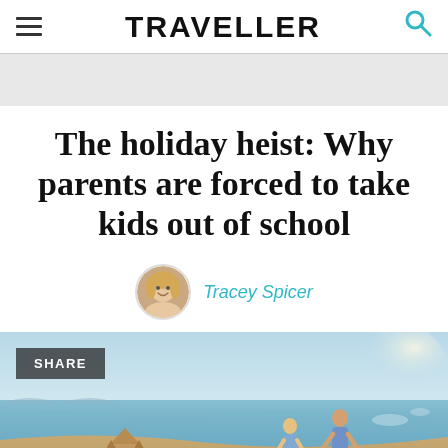TRAVELLER
The holiday heist: Why parents are forced to take kids out of school
Tracey Spicer
[Figure (photo): Two children standing at the water's edge on a sunny beach, with a sandcastle in the foreground. A SHARE button overlay is visible at the top left of the image.]